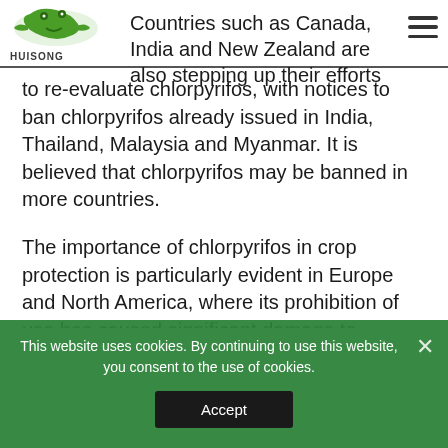HUISONG
Countries such as Canada, India and New Zealand are also stepping up their efforts to re-evaluate chlorpyrifos, with notices to ban chlorpyrifos already issued in India, Thailand, Malaysia and Myanmar. It is believed that chlorpyrifos may be banned in more countries.

The importance of chlorpyrifos in crop protection is particularly evident in Europe and North America, where its prohibition of use has caused significant damage to agricultural production. Dozens of agricultural groups in the US filed lawsuits, arguing their crops would suffer irreparable harm if chlorpyrifos were banned on food crops. In May 2019, the
This website uses cookies. By continuing to use this website, you consent to the use of cookies.